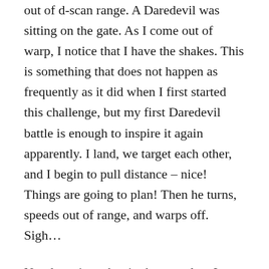out of d-scan range. A Daredevil was sitting on the gate. As I come out of warp, I notice that I have the shakes. This is something that does not happen as frequently as it did when I first started this challenge, but my first Daredevil battle is enough to inspire it again apparently. I land, we target each other, and I begin to pull distance – nice! Things are going to plan! Then he turns, speeds out of range, and warps off. Sigh…
Not detecting a bot in the complex, I warp to a gate of a medium complex. I know that at least one of these bots recently entered system, so it takes them some time to find a safe spot and scan for ANY threat. After sitting on gate for a moment, I warp off to another novice complex. The Daredevil is there, (side note: I am getting a little sloppy with using d-scan). Now I am not as